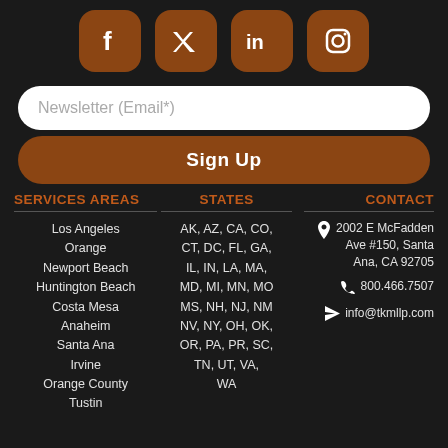[Figure (other): Social media icon buttons for Facebook, Twitter, LinkedIn, and Instagram with brown rounded square backgrounds]
Newsletter (Email*)
Sign Up
SERVICES AREAS
STATES
CONTACT
Los Angeles
Orange
Newport Beach
Huntington Beach
Costa Mesa
Anaheim
Santa Ana
Irvine
Orange County
Tustin
AK, AZ, CA, CO, CT, DC, FL, GA, IL, IN, LA, MA, MD, MI, MN, MO, MS, NH, NJ, NM, NV, NY, OH, OK, OR, PA, PR, SC, TN, UT, VA, WA
2002 E McFadden Ave #150, Santa Ana, CA 92705
800.466.7507
info@tkmllp.com